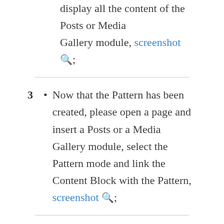Pattern you have made will be used as a matrix to display all the content of the Posts or Media Gallery module, screenshot 🔍;
3 • Now that the Pattern has been created, please open a page and insert a Posts or a Media Gallery module, select the Pattern mode and link the Content Block with the Pattern, screenshot 🔍;
4 • Set the design options in the Block tab to your liking to define the layout of the thumbnails that are part of the loop, as is usually done in Uncode with all other design modes.
Note that once you have created a Pattern, it can be used from the Posts module and the Media Gallery